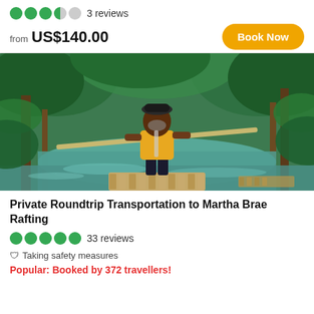3 reviews
from US$140.00
Book Now
[Figure (photo): A man in a yellow shirt and dark shorts stands on a bamboo raft on a green river, holding a long bamboo pole, surrounded by lush tropical jungle.]
Private Roundtrip Transportation to Martha Brae Rafting
33 reviews
Taking safety measures
Popular: Booked by 372 travellers!